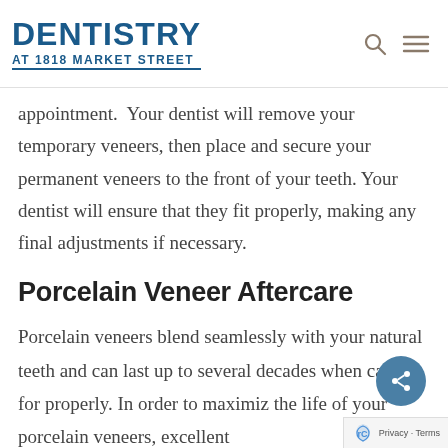DENTISTRY AT 1818 MARKET STREET
appointment.  Your dentist will remove your temporary veneers, then place and secure your permanent veneers to the front of your teeth. Your dentist will ensure that they fit properly, making any final adjustments if necessary.
Porcelain Veneer Aftercare
Porcelain veneers blend seamlessly with your natural teeth and can last up to several decades when cared for properly. In order to maximize the life of your porcelain veneers, excellent